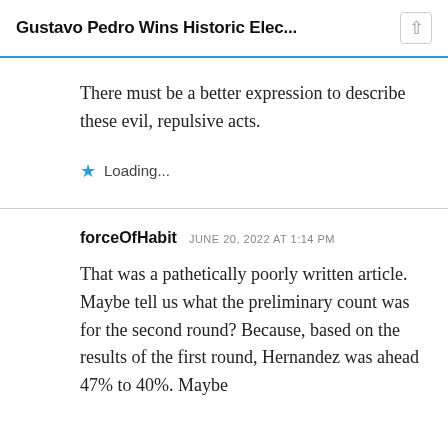Gustavo Pedro Wins Historic Elec...
There must be a better expression to describe these evil, repulsive acts.
Loading...
forceOfHabit  JUNE 20, 2022 AT 1:14 PM
That was a pathetically poorly written article. Maybe tell us what the preliminary count was for the second round? Because, based on the results of the first round, Hernandez was ahead 47% to 40%. Maybe